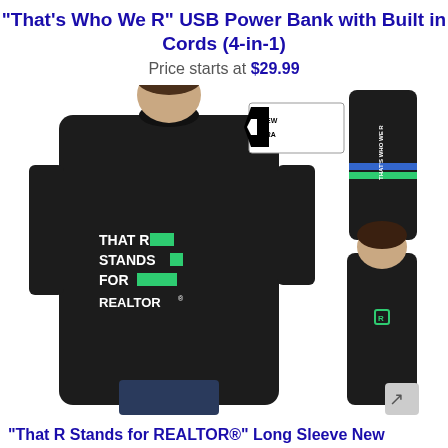"That's Who We R" USB Power Bank with Built in Cords (4-in-1)
Price starts at $29.99
[Figure (photo): Product photo showing a black long-sleeve New Era shirt with 'THAT R STANDS FOR REALTOR' text and green accent boxes on the front, a close-up of the sleeve with blue and green stripes and 'That's Who We R' text, and a back view of the shirt with a small green logo.]
"That R Stands for REALTOR®" Long Sleeve New